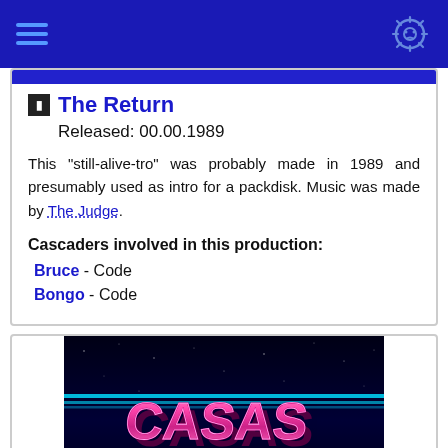The Return
Released: 00.00.1989
This "still-alive-tro" was probably made in 1989 and presumably used as intro for a packdisk. Music was made by The Judge.
Cascaders involved in this production:
Bruce - Code
Bongo - Code
[Figure (screenshot): Retro demo screenshot showing 'CASAS' logo in pink/magenta 3D lettering with cyan horizontal lines on dark space background, with 'PRESENT' text partially visible at bottom]